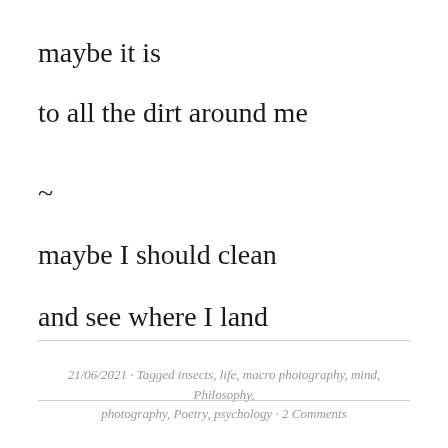maybe it is
to all the dirt around me
~
maybe I should clean
and see where I land
21/06/2021 · Tagged insects, life, macro photography, mind, Philosophy, photography, Poetry, psychology · 2 Comments
DAY 1915. UNDER A